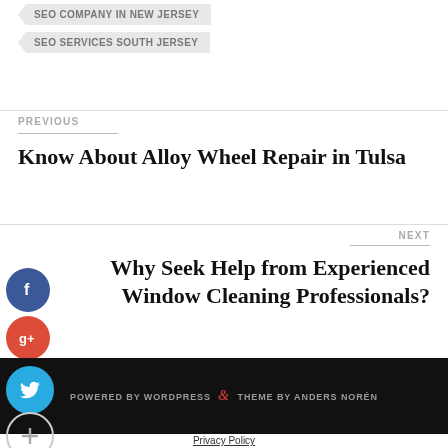SEO COMPANY IN NEW JERSEY
SEO SERVICES SOUTH JERSEY
PREVIOUS
Know About Alloy Wheel Repair in Tulsa
NEXT
Why Seek Help from Experienced Window Cleaning Professionals?
POWERED BY WORDPRESS & THEME BY ANDERS NORÉN
Privacy Policy